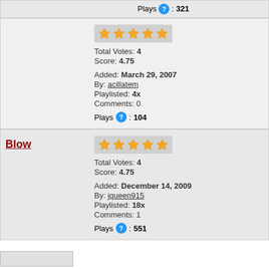Plays : 321
Total Votes: 4
Score: 4.75
Added: March 29, 2007
By: acillatem
Playlisted: 4x
Comments: 0
Plays : 104
Blow
Total Votes: 4
Score: 4.75
Added: December 14, 2009
By: jqueen915
Playlisted: 18x
Comments: 1
Plays : 551
ne Music Hutch | Privacy Statement | Terms of Use | Advertise
travel - Travel the world for cheap
The Music Hutch. All Rights Reserved.